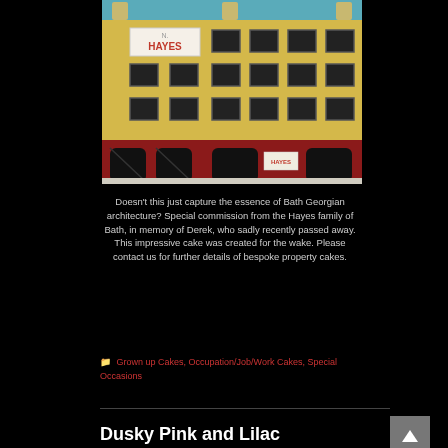[Figure (photo): A detailed cake sculpted to look like a multi-storey Georgian building facade in Bath, painted yellow with dark windows, a red ground floor with arched doorways, and a 'HAYES' signboard at the top.]
Doesn't this just capture the essence of Bath Georgian architecture? Special commission from the Hayes family of Bath, in memory of Derek, who sadly recently passed away. This impressive cake was created for the wake. Please contact us for further details of bespoke property cakes.
Grown up Cakes, Occupation/Job/Work Cakes, Special Occasions
Dusky Pink and Lilac